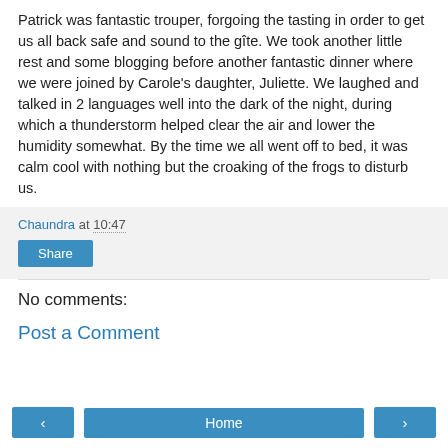Patrick was fantastic trouper, forgoing the tasting in order to get us all back safe and sound to the gîte. We took another little rest and some blogging before another fantastic dinner where we were joined by Carole's daughter, Juliette. We laughed and talked in 2 languages well into the dark of the night, during which a thunderstorm helped clear the air and lower the humidity somewhat. By the time we all went off to bed, it was calm cool with nothing but the croaking of the frogs to disturb us.
Chaundra at 10:47
Share
No comments:
Post a Comment
‹  Home  ›